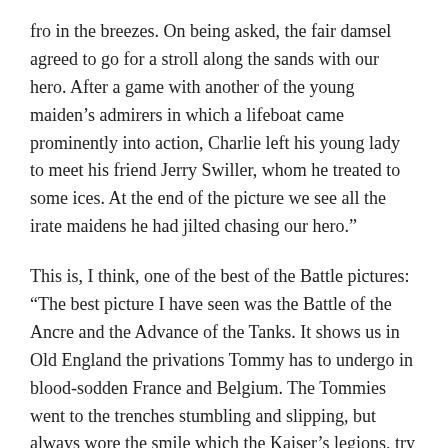fro in the breezes. On being asked, the fair damsel agreed to go for a stroll along the sands with our hero. After a game with another of the young maiden’s admirers in which a lifeboat came prominently into action, Charlie left his young lady to meet his friend Jerry Swiller, whom he treated to some ices. At the end of the picture we see all the irate maidens he had jilted chasing our hero.”
This is, I think, one of the best of the Battle pictures: “The best picture I have seen was the Battle of the Ancre and the Advance of the Tanks. It shows us in Old England the privations Tommy has to undergo in blood-sodden France and Belgium. The Tommies went to the trenches stumbling and slipping, but always wore the smile which the Kaiser’s legions, try hard as they might, could not brush off. Lords, tinkers, earls, chimney sweeps, side by side, were shown in this splendid film. It showed and proved that although England was small and Germany large, the British Lion was a match for the German Eagle any day. The film also showed that monster terror and fear of the Germans, the Tank.